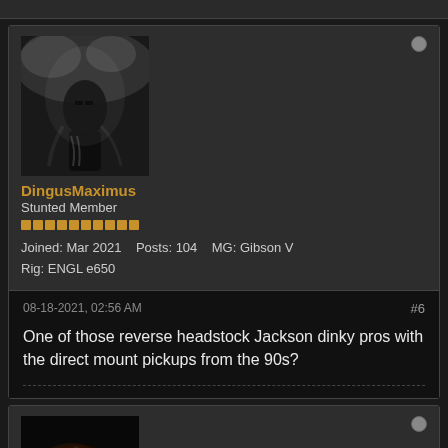[Figure (photo): Black and white photo of a person playing guitar, dramatic lighting]
DingusMaximus
stunted Member
Joined: Mar 2021    Posts: 104    MG: Gibson V
Rig: ENGL e650
08-18-2021, 02:56 AM   #6
One of those reverse headstock Jackson dinky pros with the direct mount pickups from the 90s?
[Figure (photo): Colorful electric guitar photo with orange/gold tones on dark background]